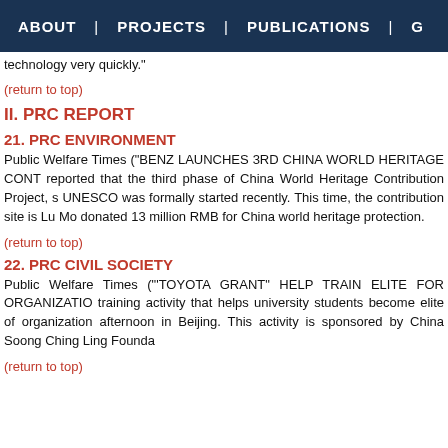ABOUT | PROJECTS | PUBLICATIONS | G
technology very quickly."
(return to top)
II. PRC REPORT
21. PRC ENVIRONMENT
Public Welfare Times ("BENZ LAUNCHES 3RD CHINA WORLD HERITAGE CONT reported that the third phase of China World Heritage Contribution Project, s UNESCO was formally started recently. This time, the contribution site is Lu Mo donated 13 million RMB for China world heritage protection.
(return to top)
22. PRC CIVIL SOCIETY
Public Welfare Times ("'TOYOTA GRANT" HELP TRAIN ELITE FOR ORGANIZATIO training activity that helps university students become elite of organization afternoon in Beijing. This activity is sponsored by China Soong Ching Ling Founda
(return to top)